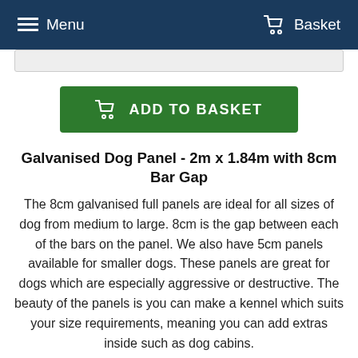≡ Menu    🛒 Basket
ADD TO BASKET
Galvanised Dog Panel - 2m x 1.84m with 8cm Bar Gap
The 8cm galvanised full panels are ideal for all sizes of dog from medium to large. 8cm is the gap between each of the bars on the panel. We also have 5cm panels available for smaller dogs. These panels are great for dogs which are especially aggressive or destructive. The beauty of the panels is you can make a kennel which suits your size requirements, meaning you can add extras inside such as dog cabins.
Each panel is supplied with 2 coach bolts, nuts and washers.
All of our premium Galvanised dog panels are made with the